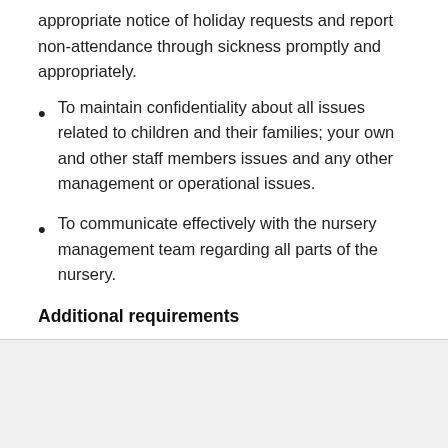appropriate notice of holiday requests and report non-attendance through sickness promptly and appropriately.
To maintain confidentiality about all issues related to children and their families; your own and other staff members issues and any other management or operational issues.
To communicate effectively with the nursery management team regarding all parts of the nursery.
Additional requirements
Send job
Save